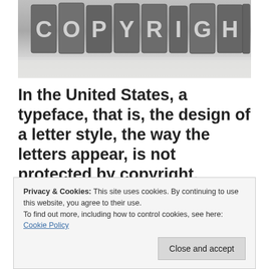[Figure (photo): Photo of metal letterpress type blocks spelling out COPYRIGHT arranged in a row, on a blurred background of printed text]
In the United States, a typeface, that is, the design of a letter style, the way the letters appear, is not protected by copyright. Hence, a letter style may be designed to look like an exact duplicate of another, without infringing...
Privacy & Cookies: This site uses cookies. By continuing to use this website, you agree to their use.
To find out more, including how to control cookies, see here:
Cookie Policy
Close and accept
position taken by both the US Congress